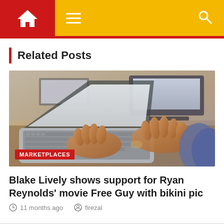Home navigation bar with hamburger menu and search icon
Related Posts
[Figure (photo): Person typing on a laptop keyboard, shot from above/side angle, with monitors visible in background. Warm tones. 'MARKETPLACES' red badge overlaid at bottom left.]
Blake Lively shows support for Ryan Reynolds' movie Free Guy with bikini pic
11 months ago   firezal